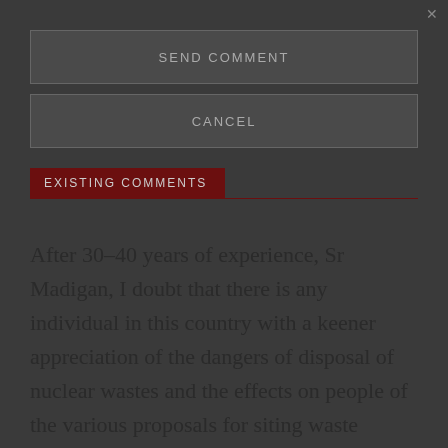✕
SEND COMMENT
CANCEL
EXISTING COMMENTS
After 30-40 years of experience, Sr Madigan, I doubt that there is any individual in this country with a keener appreciation of the dangers of disposal of nuclear wastes and the effects on people of the various proposals for siting waste disposal dumps. I imagine, therefore, that you will also have a very cogent and well argued answer as to what should be done. If that positive view were to be put forward it